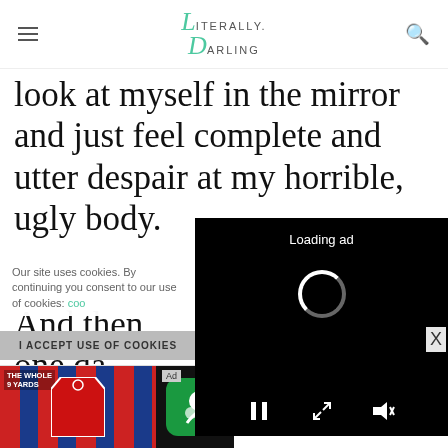Literally Darling
look at myself in the mirror and just feel complete and utter despair at my horrible, ugly body.
And then one da... suddenly my ho...
[Figure (screenshot): Video ad overlay with black background, loading spinner, and media controls (pause, expand, mute). Shows 'Loading ad' text.]
Our site uses cookies. By continuing you consent to our use of cookies: coo...
I ACCEPT USE OF COOKIES
really roo
[Figure (screenshot): Bottom banner advertisement for BitLife - Life Simulator app. Shows Ad label, THE WHOLE 9 YARDS branding with striped shirt graphic, BitLife logo, app name, and Install! button.]